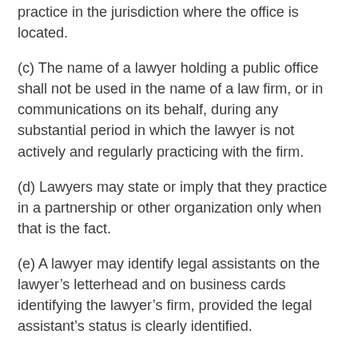practice in the jurisdiction where the office is located.
(c) The name of a lawyer holding a public office shall not be used in the name of a law firm, or in communications on its behalf, during any substantial period in which the lawyer is not actively and regularly practicing with the firm.
(d) Lawyers may state or imply that they practice in a partnership or other organization only when that is the fact.
(e) A lawyer may identify legal assistants on the lawyer’s letterhead and on business cards identifying the lawyer’s firm, provided the legal assistant’s status is clearly identified.